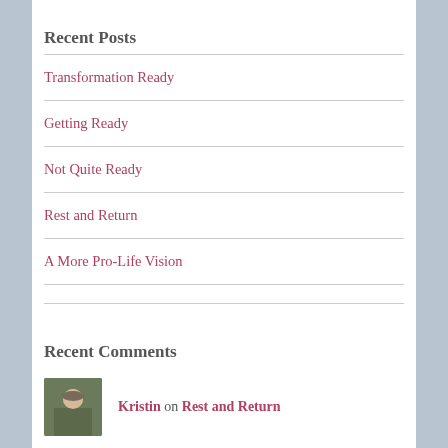Recent Posts
Transformation Ready
Getting Ready
Not Quite Ready
Rest and Return
A More Pro-Life Vision
Recent Comments
Kristin on Rest and Return